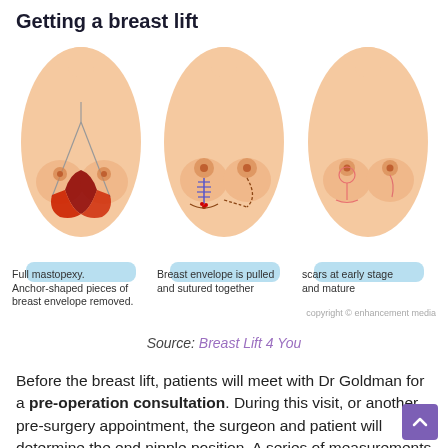Getting a breast lift
[Figure (illustration): Three-panel medical illustration showing stages of full mastopexy (breast lift): left panel shows anchor-shaped incision pattern with colored tissue removal, middle panel shows breast envelope pulled and sutured together with sutures visible, right panel shows result with early stage scars. copyright enhancement media]
Full mastopexy. Anchor-shaped pieces of breast envelope removed.
Breast envelope is pulled and sutured together
scars at early stage and mature
Source: Breast Lift 4 You
Before the breast lift, patients will meet with Dr Goldman for a pre-operation consultation. During this visit, or another pre-surgery appointment, the surgeon and patient will determine the end nipple position. A series of measurements are taken and the breasts are marked out and mapped to